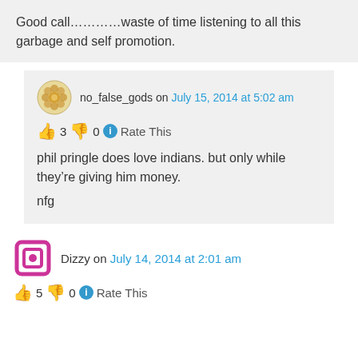Good call…………waste of time listening to all this garbage and self promotion.
no_false_gods on July 15, 2014 at 5:02 am
👍 3 👎 0 ℹ Rate This
phil pringle does love indians. but only while they're giving him money.

nfg
Dizzy on July 14, 2014 at 2:01 am
👍 5 👎 0 ℹ Rate This